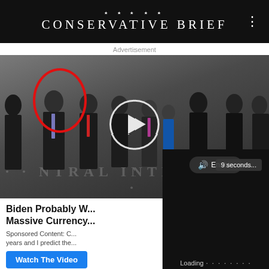CONSERVATIVE BRIEF
Advertisement
[Figure (screenshot): Group photo of men in suits at CIA headquarters lobby, with one man on the left circled in red. A video play button overlay is in the center. A '9 seconds...' countdown badge appears lower right. CIA seal floor visible at the bottom.]
Biden Probably W... Massive Currency...
Sponsored Content: C... years and I predict the...
Watch The Video
Enable
Loading . . . . . . . .